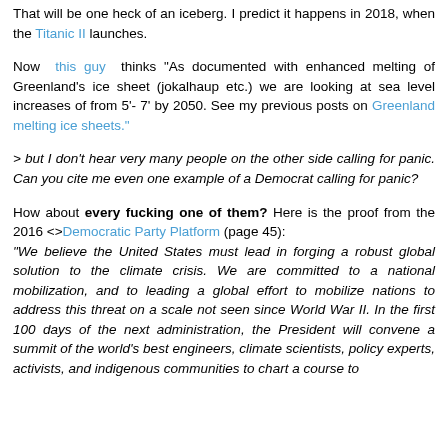That will be one heck of an iceberg. I predict it happens in 2018, when the Titanic II launches.
Now this guy thinks "As documented with enhanced melting of Greenland's ice sheet (jokalhaup etc.) we are looking at sea level increases of from 5'- 7' by 2050. See my previous posts on Greenland melting ice sheets."
> but I don't hear very many people on the other side calling for panic. Can you cite me even one example of a Democrat calling for panic?
How about every fucking one of them? Here is the proof from the 2016 <>Democratic Party Platform (page 45): "We believe the United States must lead in forging a robust global solution to the climate crisis. We are committed to a national mobilization, and to leading a global effort to mobilize nations to address this threat on a scale not seen since World War II. In the first 100 days of the next administration, the President will convene a summit of the world's best engineers, climate scientists, policy experts, activists, and indigenous communities to chart a course to